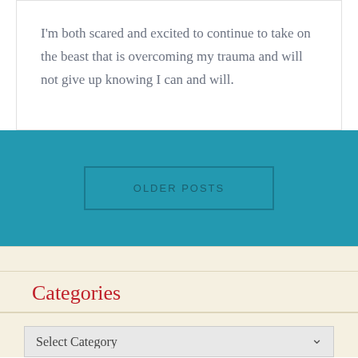I'm both scared and excited to continue to take on the beast that is overcoming my trauma and will not give up knowing I can and will.
OLDER POSTS
Categories
Select Category